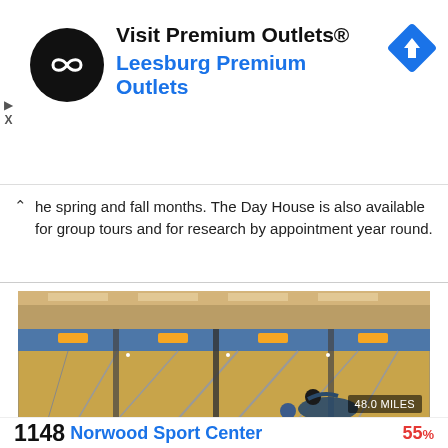[Figure (logo): Visit Premium Outlets advertisement banner with circular black logo with infinity-like icon, text 'Visit Premium Outlets®' in black bold and 'Leesburg Premium Outlets' in blue bold, blue diamond navigation icon top right, play and close icons top left]
he spring and fall months. The Day House is also available for group tours and for research by appointment year round.
[Figure (photo): Interior of a bowling alley showing multiple lanes with pins at the far end, yellow/wood-colored lane surfaces, blue ball return equipment, overhead lighting, a person crouched at the near end of a lane. Distance badge reads '48.0 MILES'.]
1148 Norwood Sport Center   55%